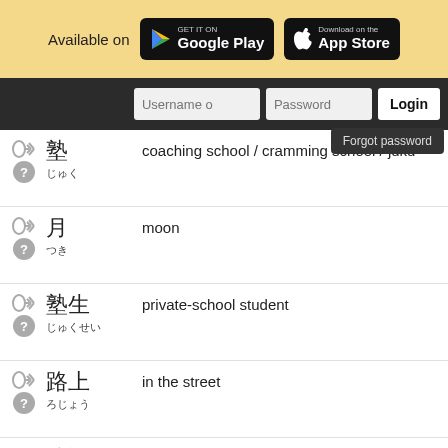[Figure (screenshot): App store badges for Google Play and Apple App Store with 'Available on' text]
[Figure (screenshot): Navigation bar with username, password fields, login button, and forgot password dropdown]
coaching school / cramming school / juku
moon
private-school student
in the street
speech / address